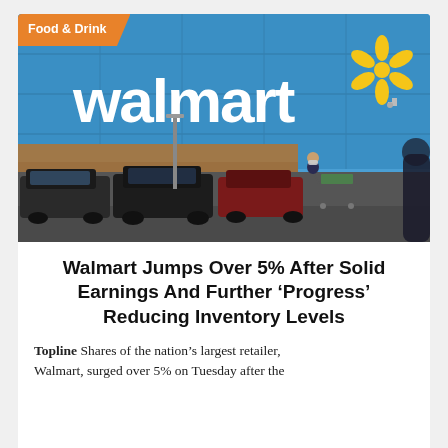[Figure (photo): Walmart store exterior with blue facade and large Walmart logo with spark, parking lot with cars, person with shopping cart wearing mask]
Walmart Jumps Over 5% After Solid Earnings And Further ‘Progress’ Reducing Inventory Levels
Topline Shares of the nation’s largest retailer, Walmart, surged over 5% on Tuesday after the...